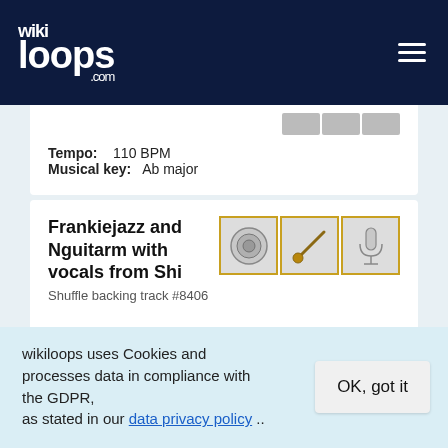wikiloops.com
Tempo: 110 BPM
Musical key: Ab major
Frankiejazz and Nguitarm with vocals from Shi
Shuffle backing track #8406
Meter: 4/4
Tempo: 100 BPM
Sounds like: Funk latin bossa
wikiloops uses Cookies and processes data in compliance with the GDPR, as stated in our data privacy policy ..